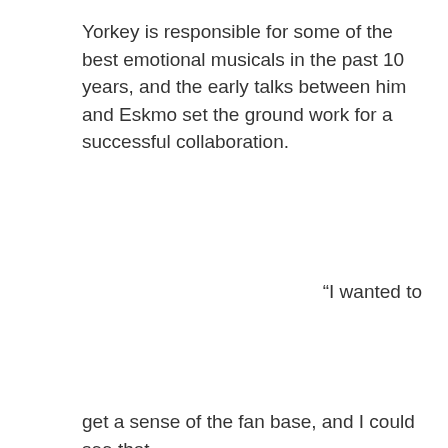Yorkey is responsible for some of the best emotional musicals in the past 10 years, and the early talks between him and Eskmo set the ground work for a successful collaboration.
“I wanted to
get a sense of the fan base, and I could see that